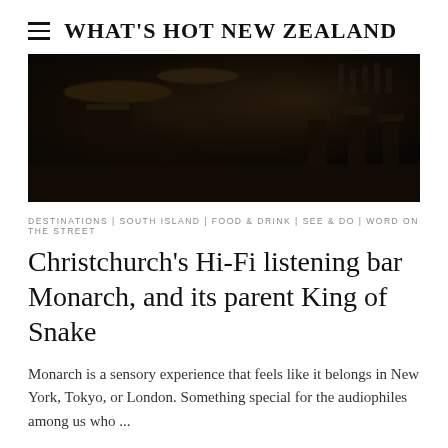WHAT'S HOT NEW ZEALAND
[Figure (photo): Dark moody interior photo of a bar with drum kit and bar stools, dimly lit with warm dark tones]
DESTINATIONS | SOUTH ISLAND | FOOD & DRINK | SEE & DO | WORD ON THE STREET
Christchurch's Hi-Fi listening bar Monarch, and its parent King of Snake
Monarch is a sensory experience that feels like it belongs in New York, Tokyo, or London. Something special for the audiophiles among us who ...